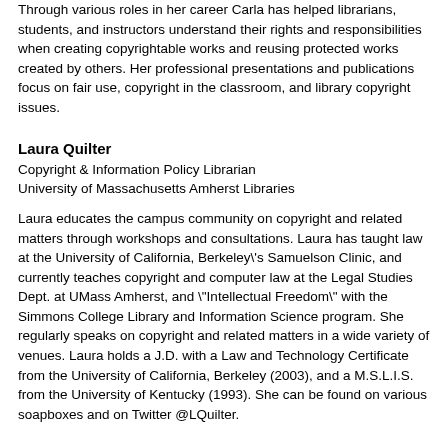Through various roles in her career Carla has helped librarians, students, and instructors understand their rights and responsibilities when creating copyrightable works and reusing protected works created by others. Her professional presentations and publications focus on fair use, copyright in the classroom, and library copyright issues.
Laura Quilter
Copyright & Information Policy Librarian
University of Massachusetts Amherst Libraries
Laura educates the campus community on copyright and related matters through workshops and consultations. Laura has taught law at the University of California, Berkeley\'s Samuelson Clinic, and currently teaches copyright and computer law at the Legal Studies Dept. at UMass Amherst, and \"Intellectual Freedom\" with the Simmons College Library and Information Science program. She regularly speaks on copyright and related matters in a wide variety of venues. Laura holds a J.D. with a Law and Technology Certificate from the University of California, Berkeley (2003), and a M.S.L.I.S. from the University of Kentucky (1993). She can be found on various soapboxes and on Twitter @LQuilter.